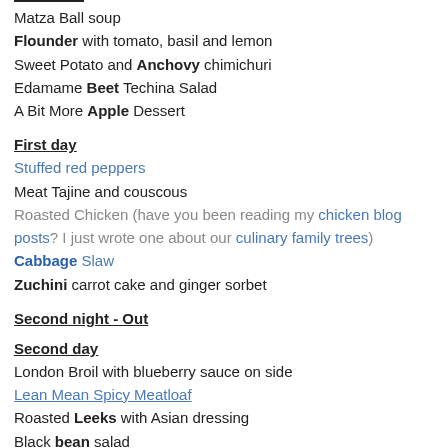Matza Ball soup
Flounder with tomato, basil and lemon
Sweet Potato and Anchovy chimichuri
Edamame Beet Techina Salad
A Bit More Apple Dessert
First day
Stuffed red peppers
Meat Tajine and couscous
Roasted Chicken (have you been reading my chicken blog posts? I just wrote one about our culinary family trees)
Cabbage Slaw
Zuchini carrot cake and ginger sorbet
Second night - Out
Second day
London Broil with blueberry sauce on side
Lean Mean Spicy Meatloaf
Roasted Leeks with Asian dressing
Black bean salad
New fruit dessert